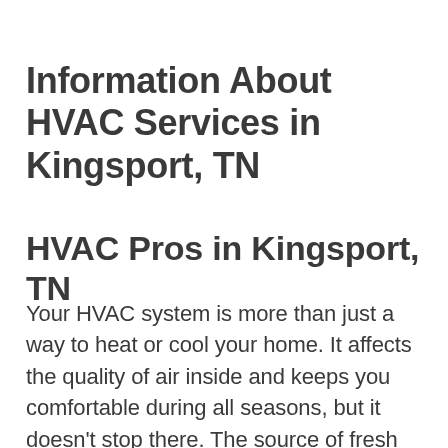Information About HVAC Services in Kingsport, TN
HVAC Pros in Kingsport, TN
Your HVAC system is more than just a way to heat or cool your home. It affects the quality of air inside and keeps you comfortable during all seasons, but it doesn't stop there. The source of fresh air intake can be natural ventilation, which typically occurs through windows/doors/vents in any house; or mechanical cooling with different